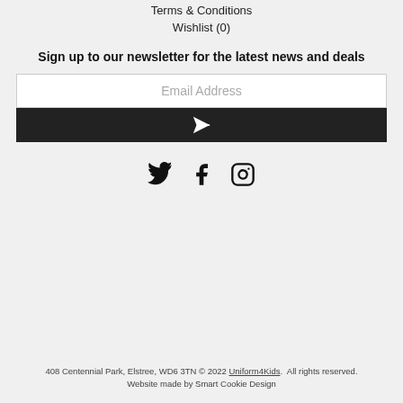Terms & Conditions
Wishlist (0)
Sign up to our newsletter for the latest news and deals
Email Address
[Figure (illustration): Dark submit button with paper airplane icon]
[Figure (illustration): Social media icons: Twitter, Facebook, Instagram]
408 Centennial Park, Elstree, WD6 3TN © 2022 Uniform4Kids.  All rights reserved.
Website made by Smart Cookie Design